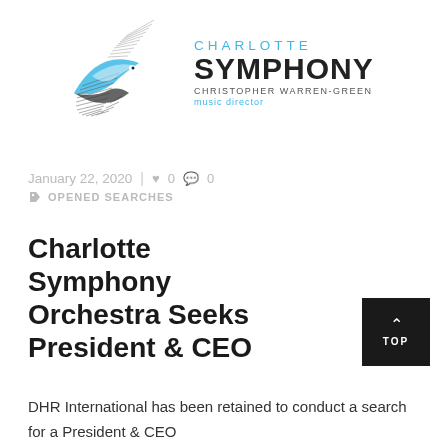[Figure (logo): Charlotte Symphony Orchestra logo with abstract bird/wave graphic in blue and grey, text reading CHARLOTTE SYMPHONY, CHRISTOPHER WARREN-GREEN, music director]
January 22, 2020  |  ♥ 0  💬 0
🏷 OPENED SEARCHES
Charlotte Symphony Orchestra Seeks President & CEO
DHR International has been retained to conduct a search for a President & CEO